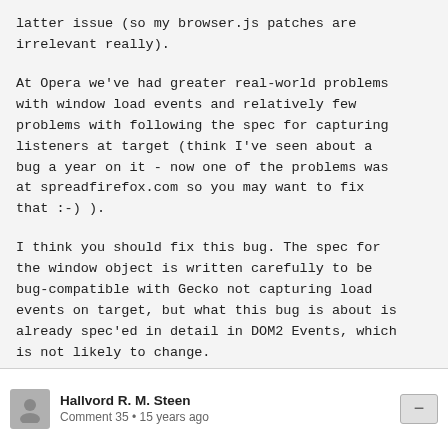latter issue (so my browser.js patches are irrelevant really).
At Opera we've had greater real-world problems with window load events and relatively few problems with following the spec for capturing listeners at target (think I've seen about a bug a year on it - now one of the problems was at spreadfirefox.com so you may want to fix that :-) ).
I think you should fix this bug. The spec for the window object is written carefully to be bug-compatible with Gecko not capturing load events on target, but what this bug is about is already spec'ed in detail in DOM2 Events, which is not likely to change.
Hallvord R. M. Steen — Comment 35 • 15 years ago